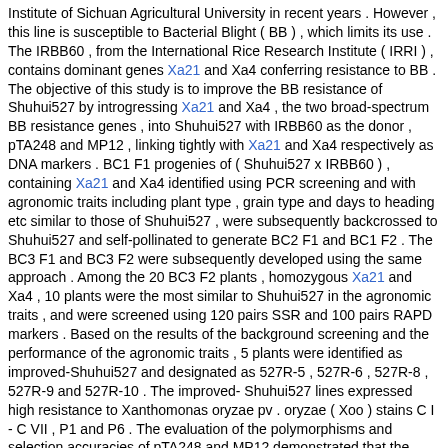Institute of Sichuan Agricultural University in recent years . However , this line is susceptible to Bacterial Blight ( BB ) , which limits its use . The IRBB60 , from the International Rice Research Institute ( IRRI ) , contains dominant genes Xa21 and Xa4 conferring resistance to BB . The objective of this study is to improve the BB resistance of Shuhui527 by introgressing Xa21 and Xa4 , the two broad-spectrum BB resistance genes , into Shuhui527 with IRBB60 as the donor , pTA248 and MP12 , linking tightly with Xa21 and Xa4 respectively as DNA markers . BC1 F1 progenies of ( Shuhui527 x IRBB60 ) , containing Xa21 and Xa4 identified using PCR screening and with agronomic traits including plant type , grain type and days to heading etc similar to those of Shuhui527 , were subsequently backcrossed to Shuhui527 and self-pollinated to generate BC2 F1 and BC1 F2 . The BC3 F1 and BC3 F2 were subsequently developed using the same approach . Among the 20 BC3 F2 plants , homozygous Xa21 and Xa4 , 10 plants were the most similar to Shuhui527 in the agronomic traits , and were screened using 120 pairs SSR and 100 pairs RAPD markers . Based on the results of the background screening and the performance of the agronomic traits , 5 plants were identified as improved-Shuhui527 and designated as 527R-5 , 527R-6 , 527R-8 , 527R-9 and 527R-10 . The improved- Shuhui527 lines expressed high resistance to Xanthomonas oryzae pv . oryzae ( Xoo ) stains C I - C VII , P1 and P6 . The evaluation of the polymorphisms and selection accuracies of pTA248 and MP12 demonstrated that the polymorphisms of the two markers were obvious and co-dominant and the accuracies were more than 97% and 83% respectively , indicating the two markers are good for Xa21 and Xa4 in Molecular Marker-assisted Selection .
Matching Sentences:
[ Sen. 4, subscore: 2.00 ]: The objective of this study is to improve the BB resistance of Shuhui527 by introgressing Xa21 and Xa4 , the two